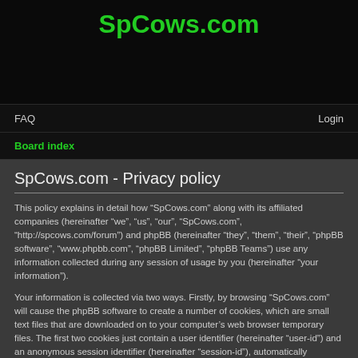SpCows.com
FAQ  Login
Board index
SpCows.com - Privacy policy
This policy explains in detail how “SpCows.com” along with its affiliated companies (hereinafter “we”, “us”, “our”, “SpCows.com”, “http://spcows.com/forum”) and phpBB (hereinafter “they”, “them”, “their”, “phpBB software”, “www.phpbb.com”, “phpBB Limited”, “phpBB Teams”) use any information collected during any session of usage by you (hereinafter “your information”).
Your information is collected via two ways. Firstly, by browsing “SpCows.com” will cause the phpBB software to create a number of cookies, which are small text files that are downloaded on to your computer’s web browser temporary files. The first two cookies just contain a user identifier (hereinafter “user-id”) and an anonymous session identifier (hereinafter “session-id”), automatically assigned to you by the phpBB software. A third cookie will be created once you have browsed topics within “SpCows.com” and is used to store which topics have been read, thereby improving your user experience.
We may also create cookies external to the phpBB software whilst browsing “SpCows.com”, though these are outside the scope of this document which is intended to only cover the pages